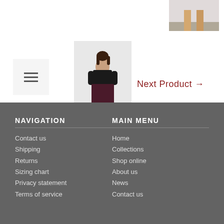[Figure (photo): Navigation/hamburger menu icon in a light gray square]
[Figure (photo): Model wearing a black top and dark burgundy/plum midi skirt with black boots]
[Figure (photo): Partial product photo showing legs/lower body on a grey floor]
Next Product →
NAVIGATION
MAIN MENU
Contact us
Shipping
Returns
Sizing chart
Privacy statement
Terms of service
Home
Collections
Shop online
About us
News
Contact us